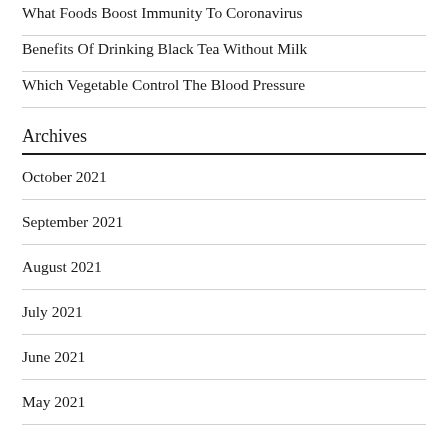What Foods Boost Immunity To Coronavirus
Benefits Of Drinking Black Tea Without Milk
Which Vegetable Control The Blood Pressure
Archives
October 2021
September 2021
August 2021
July 2021
June 2021
May 2021